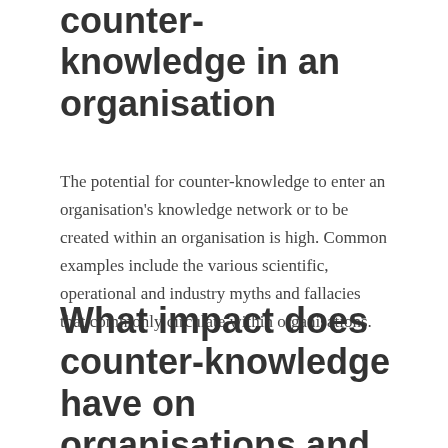counter-knowledge in an organisation
The potential for counter-knowledge to enter an organisation's knowledge network or to be created within an organisation is high. Common examples include the various scientific, operational and industry myths and fallacies that commonly circulate within organisations.
What impact does counter-knowledge have on organisations and organisational